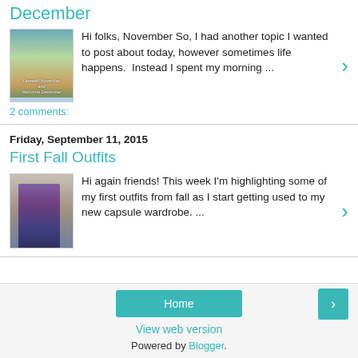December
[Figure (photo): Thumbnail image with autumn landscape and cursive text overlay reading 'Farewell November and Welcome December']
Hi folks, November So, I had another topic I wanted to post about today, however sometimes life happens.  Instead I spent my morning ...
2 comments:
Friday, September 11, 2015
First Fall Outfits
[Figure (photo): Thumbnail image of a woman standing in a room wearing a purple top and dark shorts]
Hi again friends! This week I'm highlighting some of my first outfits from fall as I start getting used to my new capsule wardrobe. ...
Home
View web version
Powered by Blogger.